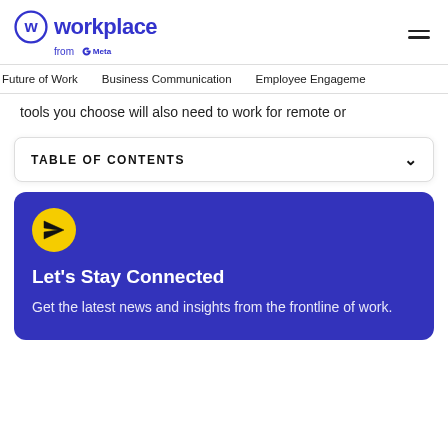[Figure (logo): Workplace from Meta logo — circular W icon in dark blue/purple, 'workplace' text in dark blue/purple bold, 'from Meta' in smaller text below]
Future of Work    Business Communication    Employee Engagement
tools you choose will also need to work for remote or
TABLE OF CONTENTS
[Figure (infographic): Purple promotional box with yellow circle icon containing paper airplane, heading 'Let's Stay Connected', subtext 'Get the latest news and insights from the frontline of work.']